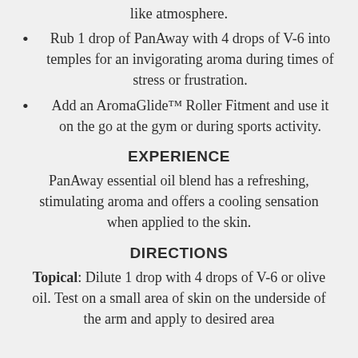like atmosphere.
Rub 1 drop of PanAway with 4 drops of V-6 into temples for an invigorating aroma during times of stress or frustration.
Add an AromaGlide™ Roller Fitment and use it on the go at the gym or during sports activity.
EXPERIENCE
PanAway essential oil blend has a refreshing, stimulating aroma and offers a cooling sensation when applied to the skin.
DIRECTIONS
Topical: Dilute 1 drop with 4 drops of V-6 or olive oil. Test on a small area of skin on the underside of the arm and apply to desired area